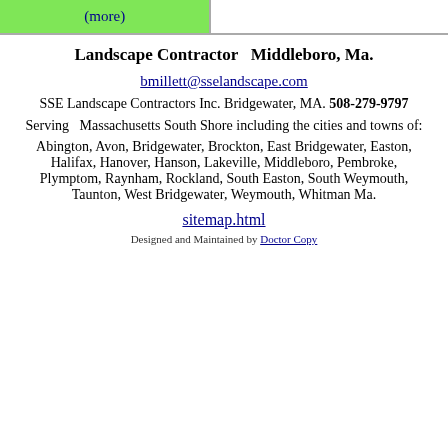[Figure (other): Green cell with (more) link and empty white cell forming a two-column bar at top]
Landscape Contractor  Middleboro, Ma.
bmillett@sselandscape.com
SSE Landscape Contractors Inc. Bridgewater, MA. 508-279-9797
Serving  Massachusetts South Shore including the cities and towns of:
Abington, Avon, Bridgewater, Brockton, East Bridgewater, Easton, Halifax, Hanover, Hanson, Lakeville, Middleboro, Pembroke, Plymptom, Raynham, Rockland, South Easton, South Weymouth, Taunton, West Bridgewater, Weymouth, Whitman Ma.
sitemap.html
Designed and Maintained by Doctor Copy